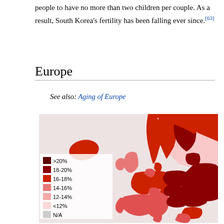people to have no more than two children per couple. As a result, South Korea's fertility has been falling ever since.[63]
Europe
See also: Aging of Europe
[Figure (map): Choropleth map of Europe showing percentage of population aged 65 and over by country, with legend showing color ranges: >20% (dark brown-red), 18-20% (dark red), 16-18% (red), 14-16% (medium pink-red), 12-14% (light pink), <12% (very light pink), N/A (light gray).]